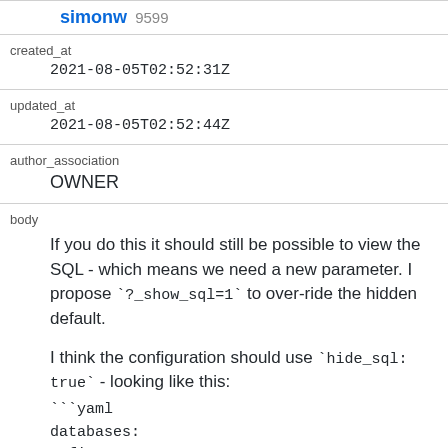| simonw 9599 |  |
| created_at | 2021-08-05T02:52:31Z |
| updated_at | 2021-08-05T02:52:44Z |
| author_association | OWNER |
| body | If you do this it should still be possible to view the SQL - which means we need a new parameter. I propose `?_show_sql=1` to over-ride the hidden default.

I think the configuration should use `hide_sql: true` - looking like this:
```yaml
databases:
  fixtures:
    queries:
      neighborhood_search: |